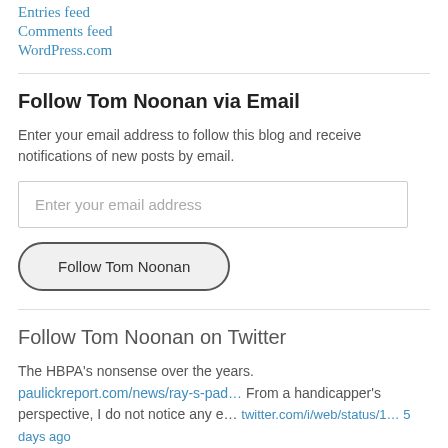Entries feed
Comments feed
WordPress.com
Follow Tom Noonan via Email
Enter your email address to follow this blog and receive notifications of new posts by email.
Enter your email address
Follow Tom Noonan
Follow Tom Noonan on Twitter
The HBPA's nonsense over the years. paulickreport.com/news/ray-s-pad… From a handicapper's perspective, I do not notice any e… twitter.com/i/web/status/1… 5 days ago